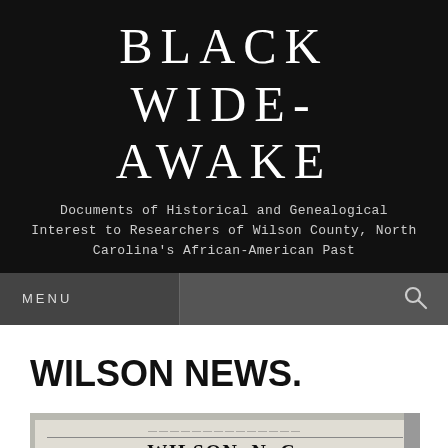BLACK WIDE-AWAKE
Documents of Historical and Genealogical Interest to Researchers of Wilson County, North Carolina's African-American Past
MENU
WILSON NEWS.
[Figure (photo): Scanned newspaper clipping showing 'WILSON, N. C.' as headline, with text 'Wilson, N. C.— Mrs. Jasper Coley is visiting in Washington, D. C.' The name 'Mrs. Jasper Coley' is highlighted with a red rectangle border.]